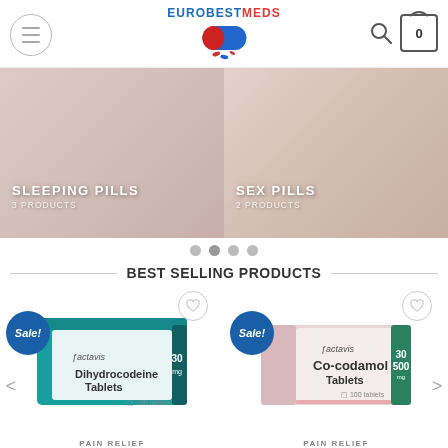[Figure (screenshot): EuroBestMeds pharmacy website header with logo (capsule pill graphic), hamburger menu icon on left, search icon and cart (showing 0) on right]
[Figure (screenshot): Banner carousel showing two product category panels: left panel 'SLEEPING PILLS - 3 PRODUCTS' with person in bed background, right panel 'SEX PILLS - 2 PRODUCTS' with person background]
[Figure (infographic): Four navigation dots below carousel, indicating slide position]
BEST SELLING PRODUCTS
[Figure (photo): Product card for Dihydrocodeine Tablets (Actavis, 30mg, 100 tablets) with Sale! badge, wishlist heart button, teal/white box packaging]
[Figure (photo): Product card for Co-codamol Tablets (Actavis, 30/500mg, 100 tablets) with Sale! badge, wishlist heart button, pink/green/white box packaging]
PAIN RELIEF
PAIN RELIEF